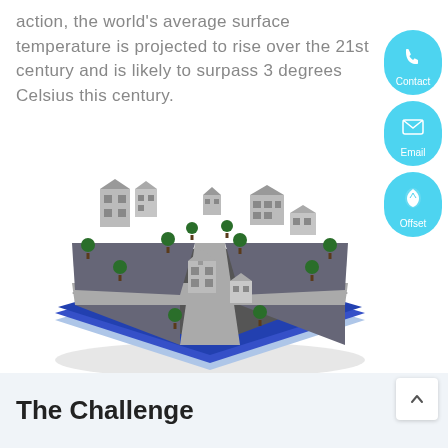action, the world's average surface temperature is projected to rise over the 21st century and is likely to surpass 3 degrees Celsius this century.
[Figure (illustration): Isometric illustration of an urban neighborhood with several multi-story buildings and houses arranged on a grid of roads, with green trees, rendered in grayscale on a layered blue and grey platform base.]
The Challenge